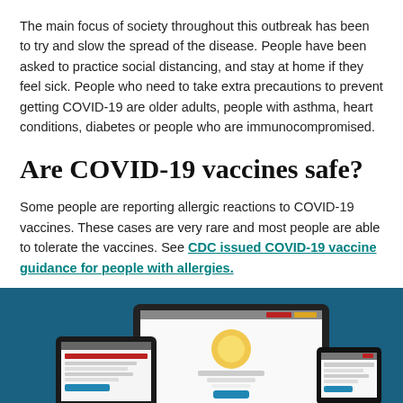The main focus of society throughout this outbreak has been to try and slow the spread of the disease. People have been asked to practice social distancing, and stay at home if they feel sick. People who need to take extra precautions to prevent getting COVID-19 are older adults, people with asthma, heart conditions, diabetes or people who are immunocompromised.
Are COVID-19 vaccines safe?
Some people are reporting allergic reactions to COVID-19 vaccines. These cases are very rare and most people are able to tolerate the vaccines. See CDC issued COVID-19 vaccine guidance for people with allergies.
[Figure (screenshot): Blue banner showing screenshots of devices (tablet, laptop, and phone) displaying a website with 'Allergy Lifeline' content and a video series interface.]